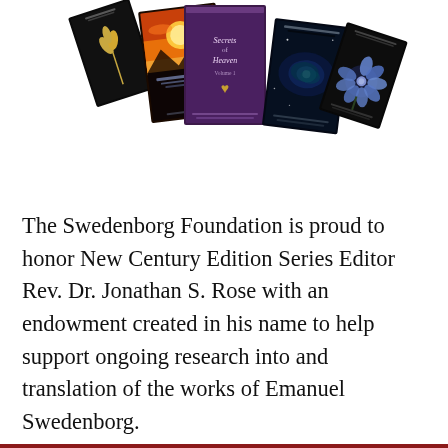[Figure (illustration): Five book covers from the Swedenborg Foundation New Century Edition series arranged in a fan/spread layout. From left to right: a dark cover with wheat stalk, a colorful sunset/mountain cover, a purple 'Secrets of Heaven' cover (centered and largest), a dark cosmic/galaxy cover, and a dark cover with a blue flower.]
The Swedenborg Foundation is proud to honor New Century Edition Series Editor Rev. Dr. Jonathan S. Rose with an endowment created in his name to help support ongoing research into and translation of the works of Emanuel Swedenborg.